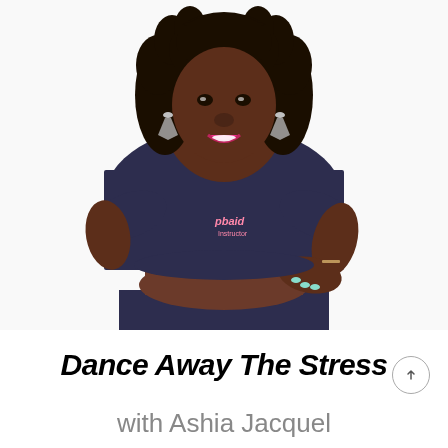[Figure (photo): A smiling Black woman with curly hair wearing a navy blue crop t-shirt with a pink logo and navy blue high-waisted pants, posing with one hand on her hip against a white background.]
Dance Away The Stress
with Ashia Jacquel